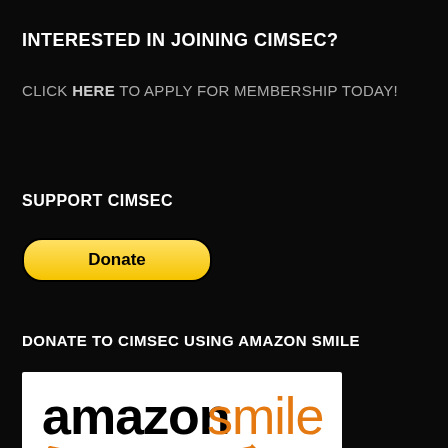INTERESTED IN JOINING CIMSEC?
CLICK HERE TO APPLY FOR MEMBERSHIP TODAY!
SUPPORT CIMSEC
[Figure (other): PayPal Donate button — yellow rounded rectangle with black border, bold text 'Donate']
DONATE TO CIMSEC USING AMAZON SMILE
[Figure (logo): Amazon Smile logo on white background — 'amazon' in black bold lowercase, 'smile' in orange, with orange arrow/smile beneath, tagline 'You Shop. Amazon Gives.']